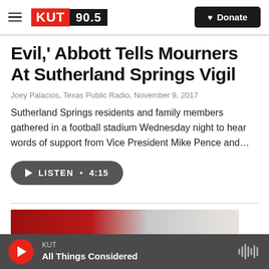KUT 90.5 | Donate
Evil,' Abbott Tells Mourners At Sutherland Springs Vigil
Joey Palacios, Texas Public Radio,  November 9, 2017
Sutherland Springs residents and family members gathered in a football stadium Wednesday night to hear words of support from Vice President Mike Pence and…
LISTEN • 4:15
[Figure (photo): Partial photo of an elderly man with white hair in front of a red and gray background]
KUT | All Things Considered